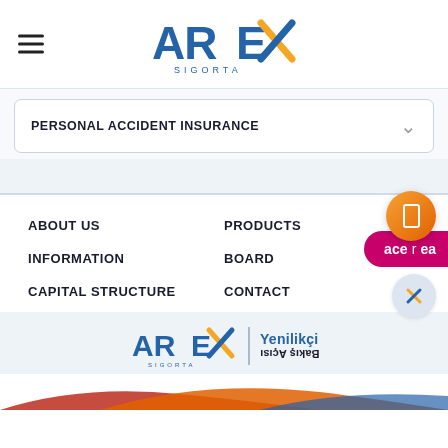[Figure (logo): AREX Sigorta logo — blue and orange letters]
PERSONAL ACCIDENT INSURANCE
ABOUT US
INFORMATION
CAPITAL STRUCTURE
PRODUCTS
BOARD
CONTACT
[Figure (logo): AREX Sigorta logo with Yenilikci Bakis Acisi tagline, partially upside down]
[Figure (illustration): Acerdrea chat widget with orange circle icon and pink bar, plus close X button]